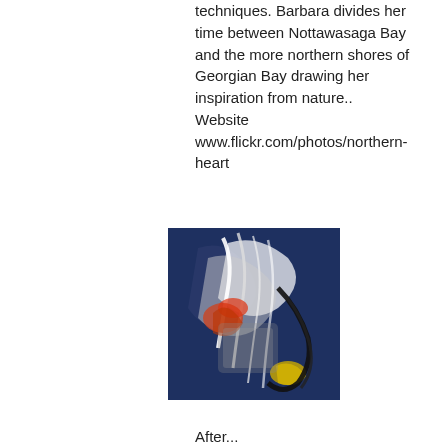techniques. Barbara divides her time between Nottawasaga Bay and the more northern shores of Georgian Bay drawing her inspiration from nature.. Website www.flickr.com/photos/northern-heart
[Figure (photo): Abstract expressionist painting with dark blue background, featuring swirling white, orange, yellow, and black brushstrokes forming a dynamic composition.]
After...